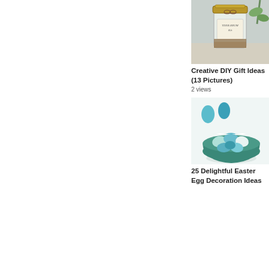[Figure (photo): A mason jar labeled 'Terrarium Kit' with a gold lid and twine, sitting on a table with a plant in the background.]
Creative DIY Gift Ideas (13 Pictures)
2 views
[Figure (photo): A teal/green ceramic bowl filled with blue and aqua painted Easter eggs, with two eggs standing upright behind the bowl on a white background.]
25 Delightful Easter Egg Decoration Ideas